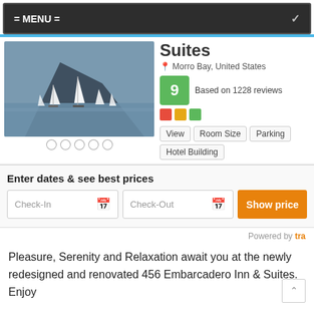= MENU =
[Figure (photo): Sailboats on a bay with a large rocky mountain in the background. Five white dots (carousel indicators) at the bottom.]
Suites
Morro Bay, United States
9  Based on 1228 reviews
View  Room Size  Parking  Hotel Building
Enter dates & see best prices
Check-In  Check-Out  Show price
Powered by tra
Pleasure, Serenity and Relaxation await you at the newly redesigned and renovated 456 Embarcadero Inn & Suites. Enjoy